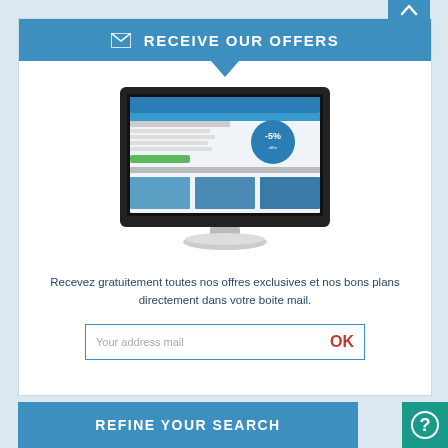RECEIVE OUR OFFERS
[Figure (screenshot): Computer monitor displaying a travel website with blue header, promotional badge showing -5%, and beach vacation imagery]
Recevez gratuitement toutes nos offres exclusives et nos bons plans directement dans votre boite mail.
Your address mail  OK
REFINE YOUR SEARCH